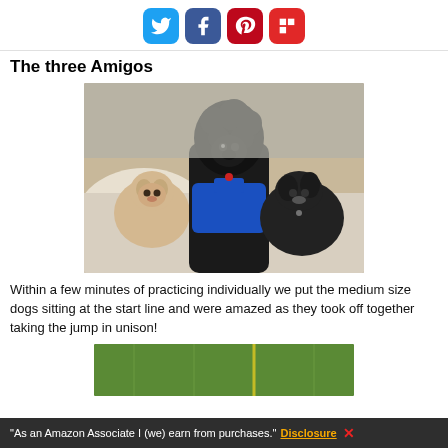[Figure (other): Social media share icons: Twitter (blue), Facebook (dark blue), Pinterest (red), Flipboard (red)]
The three Amigos
[Figure (photo): Three dogs sitting together on a white bed/surface: a small tan/white Chihuahua on the left, a large black curly-haired poodle in a blue harness in the center, and a small black puppy on the right.]
Within a few minutes of practicing individually we put the medium size dogs sitting at the start line and were amazed as they took off together taking the jump in unison!
[Figure (photo): Partial photo of dogs in a grassy outdoor area, cut off at bottom of page.]
"As an Amazon Associate I (we) earn from purchases." Disclosure X